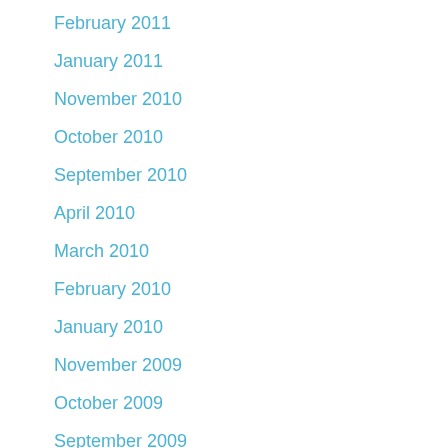February 2011
January 2011
November 2010
October 2010
September 2010
April 2010
March 2010
February 2010
January 2010
November 2009
October 2009
September 2009
April 2009